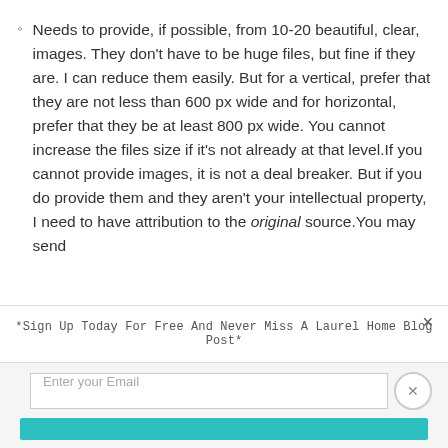Needs to provide, if possible, from 10-20 beautiful, clear, images. They don't have to be huge files, but fine if they are. I can reduce them easily. But for a vertical, prefer that they are not less than 600 px wide and for horizontal, prefer that they be at least 800 px wide. You cannot increase the files size if it's not already at that level.If you cannot provide images, it is not a deal breaker. But if you do provide them and they aren't your intellectual property, I need to have attribution to the original source.You may send
*Sign Up Today For Free And Never Miss A Laurel Home Blog Post*
Enter your Email